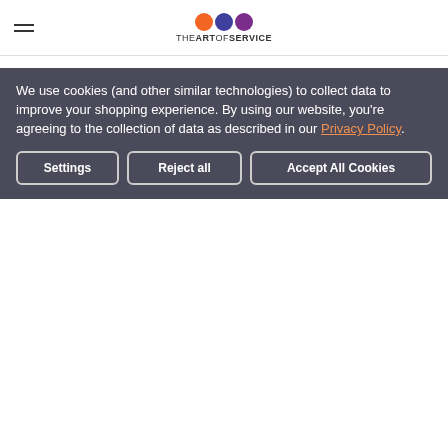THE ART OF SERVICE
affect of Product Architecture decisions on Distributed Systems.
Head Distributed Cloud: design and develop designs, architectures, standards, and methods for large scale Distributed Systems.
Ensure you lead projects in adding new functionality in Distributed Systems and dealing with concepts of performance, fault tolerance.
Manage work on technical problems in areas of Distributed
We use cookies (and other similar technologies) to collect data to improve your shopping experience. By using our website, you're agreeing to the collection of data as described in our Privacy Policy.
Settings | Reject all | Accept All Cookies